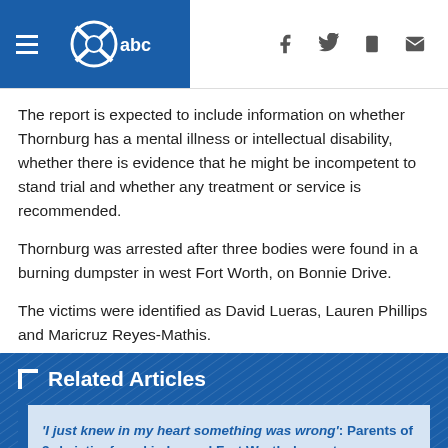WFAA abc [navigation bar with hamburger menu and social icons]
The report is expected to include information on whether Thornburg has a mental illness or intellectual disability, whether there is evidence that he might be incompetent to stand trial and whether any treatment or service is recommended.
Thornburg was arrested after three bodies were found in a burning dumpster in west Fort Worth, on Bonnie Drive.
The victims were identified as David Lueras, Lauren Phillips and Maricruz Reyes-Mathis.
Related Articles
'I just knew in my heart something was wrong': Parents of 3rd victim found in burned Fort Worth dumpster devastated